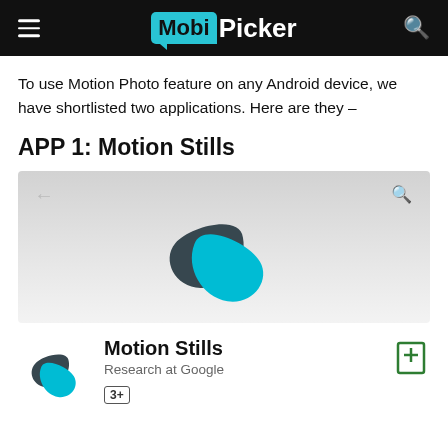MobiPicker
To use Motion Photo feature on any Android device, we have shortlisted two applications. Here are they –
APP 1: Motion Stills
[Figure (screenshot): Screenshot of Motion Stills app header in Google Play Store with back arrow and search icon, showing the Motion Stills logo — two overlapping teardrop shapes in cyan and dark slate]
[Figure (logo): Motion Stills app listing: small logo with cyan and dark teardrop shapes, app name 'Motion Stills', publisher 'Research at Google', rating badge '3+', and wishlist bookmark icon]